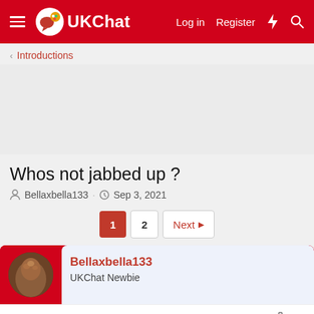UKChat — Log in | Register
< Introductions
Whos not jabbed up ?
Bellaxbella133 · Sep 3, 2021
Page 1, 2, Next
Bellaxbella133 — UKChat Newbie
Sep 3, 2021  #1